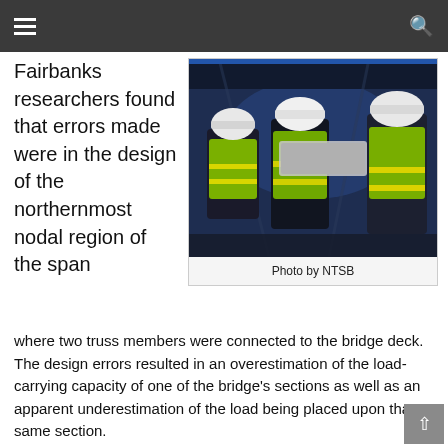☰  🔍
Fairbanks researchers found that errors made were in the design of the northernmost nodal region of the span where two truss members were connected to the bridge deck. The design errors resulted in an overestimation of the load-carrying capacity of one of the bridge's sections as well as an apparent underestimation of the load being placed upon that same section.
[Figure (photo): Workers in hard hats and high-visibility green safety vests at a construction or investigation site, photographed indoors under blue lighting.]
Photo by NTSB